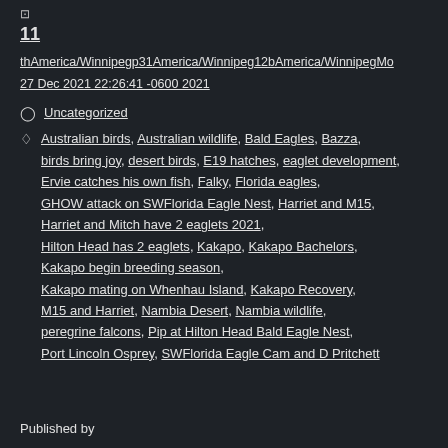...
11
thAmerica/Winnipegp31America/Winnipeg12bAmerica/WinnipegMo
27 Dec 2021 22:26:41 -0600 2021
Uncategorized
Australian birds, Australian wildlife, Bald Eagles, Bazza, birds bring joy, desert birds, E19 hatches, eaglet development, Ervie catches his own fish, Falky, Florida eagles, GHOW attack on SWFlorida Eagle Nest, Harriet and M15, Harriet and Mitch have 2 eaglets 2021, Hilton Head has 2 eaglets, Kakapo, Kakapo Bachelors, Kakapo begin breeding season, Kakapo mating on Whenhau Island, Kakapo Recovery, M15 and Harriet, Nambia Desert, Nambia wildlife, peregrine falcons, Pip at Hilton Head Bald Eagle Nest, Port Lincoln Osprey, SWFlorida Eagle Cam and D Pritchett
Published by